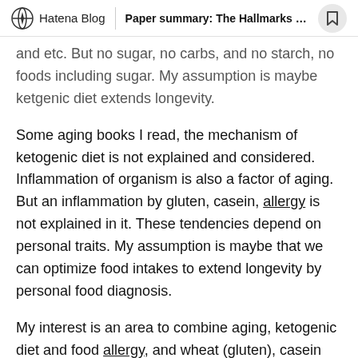Hatena Blog | Paper summary: The Hallmarks of...
and etc. But no sugar, no carbs, and no starch, no foods including sugar. My assumption is maybe ketgenic diet extends longevity.
Some aging books I read, the mechanism of ketogenic diet is not explained and considered. Inflammation of organism is also a factor of aging. But an inflammation by gluten, casein, allergy is not explained in it. These tendencies depend on personal traits. My assumption is maybe that we can optimize food intakes to extend longevity by personal food diagnosis.
My interest is an area to combine aging, ketogenic diet and food allergy, and wheat (gluten), casein and cellular and mitochondrial damage. A practice to prevent cellular